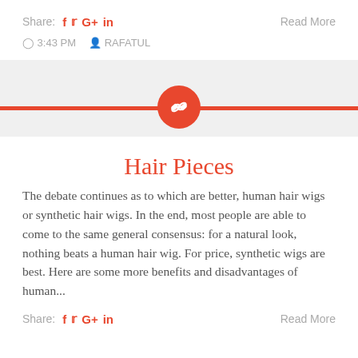Share: f tw G+ in   Read More
3:43 PM   RAFATUL
[Figure (illustration): Red horizontal divider bar with a red circle containing a white chain-link icon centered on the bar, on a light gray background]
Hair Pieces
The debate continues as to which are better, human hair wigs or synthetic hair wigs. In the end, most people are able to come to the same general consensus: for a natural look, nothing beats a human hair wig. For price, synthetic wigs are best. Here are some more benefits and disadvantages of human...
Share: f tw G+ in   Read More